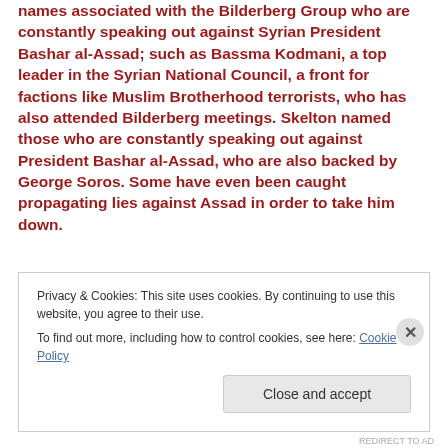names associated with the Bilderberg Group who are constantly speaking out against Syrian President Bashar al-Assad; such as Bassma Kodmani, a top leader in the Syrian National Council, a front for factions like Muslim Brotherhood terrorists, who has also attended Bilderberg meetings. Skelton named those who are constantly speaking out against President Bashar al-Assad, who are also backed by George Soros. Some have even been caught propagating lies against Assad in order to take him down.
Privacy & Cookies: This site uses cookies. By continuing to use this website, you agree to their use.
To find out more, including how to control cookies, see here: Cookie Policy
Close and accept
REDIRECT TO AD